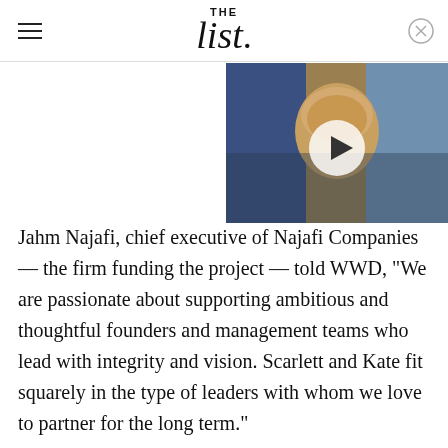THE list
[Figure (photo): Video thumbnail showing a blonde woman with short hair, with a play button overlay. Appears to be a video player in the top right of the page.]
Jahm Najafi, chief executive of Najafi Companies — the firm funding the project — told WWD, "We are passionate about supporting ambitious and thoughtful founders and management teams who lead with integrity and vision. Scarlett and Kate fit squarely in the type of leaders with whom we love to partner for the long term."
Najafi Companies also backs other celebrity beauty